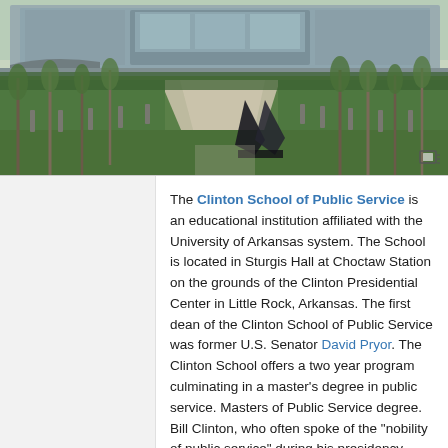[Figure (photo): Exterior photograph of the Clinton Presidential Center grounds, showing a modern building in the background, a concrete walkway path, green lawns, tall thin trees, bollards, and a dark angular sculpture in the foreground. Taken in daylight.]
The Clinton School of Public Service is an educational institution affiliated with the University of Arkansas system. The School is located in Sturgis Hall at Choctaw Station on the grounds of the Clinton Presidential Center in Little Rock, Arkansas. The first dean of the Clinton School of Public Service was former U.S. Senator David Pryor. The Clinton School offers a two year program culminating in a master's degree in public service. Masters of Public Service degree. Bill Clinton, who often spoke of the "nobility of public service" during his presidency, helped design the curriculum for the school. Some parts of the program are